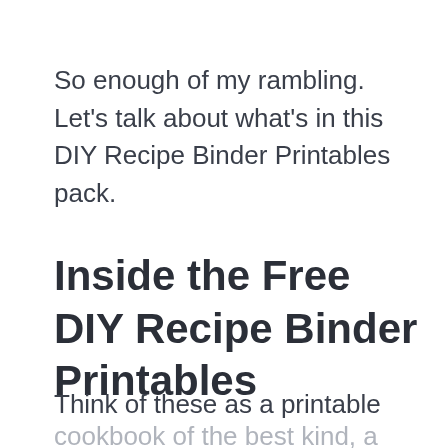So enough of my rambling.  Let's talk about what's in this DIY Recipe Binder Printables pack.
Inside the Free DIY Recipe Binder Printables
Think of these as a printable cookbook of the best kind, a personalized cookbook binder where